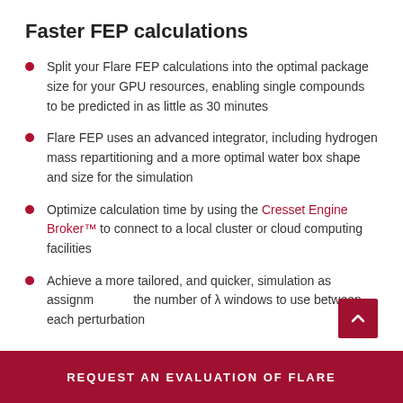Faster FEP calculations
Split your Flare FEP calculations into the optimal package size for your GPU resources, enabling single compounds to be predicted in as little as 30 minutes
Flare FEP uses an advanced integrator, including hydrogen mass repartitioning and a more optimal water box shape and size for the simulation
Optimize calculation time by using the Cresset Engine Broker™ to connect to a local cluster or cloud computing facilities
Achieve a more tailored, and quicker, simulation as assignment the number of λ windows to use between each perturbation
REQUEST AN EVALUATION OF FLARE